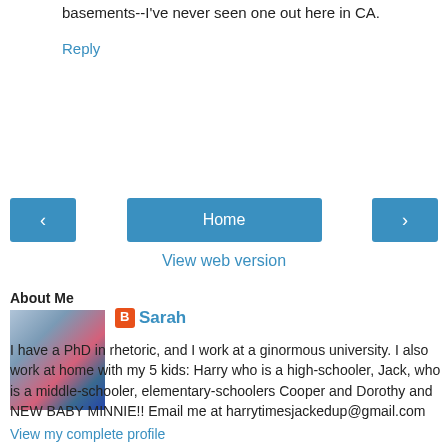basements--I've never seen one out here in CA.
Reply
Home
View web version
About Me
[Figure (photo): Profile photo of Sarah with a baby]
Sarah
I have a PhD in rhetoric, and I work at a ginormous university. I also work at home with my 5 kids: Harry who is a high-schooler, Jack, who is a middle-schooler, elementary-schoolers Cooper and Dorothy and NEW BABY MINNIE!! Email me at harrytimesjackedup@gmail.com
View my complete profile